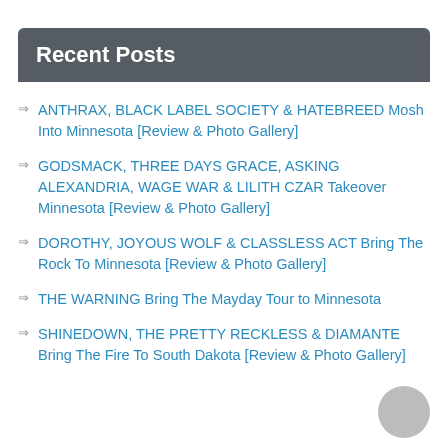Recent Posts
ANTHRAX, BLACK LABEL SOCIETY & HATEBREED Mosh Into Minnesota [Review & Photo Gallery]
GODSMACK, THREE DAYS GRACE, ASKING ALEXANDRIA, WAGE WAR & LILITH CZAR Takeover Minnesota [Review & Photo Gallery]
DOROTHY, JOYOUS WOLF & CLASSLESS ACT Bring The Rock To Minnesota [Review & Photo Gallery]
THE WARNING Bring The Mayday Tour to Minnesota
SHINEDOWN, THE PRETTY RECKLESS & DIAMANTE Bring The Fire To South Dakota [Review & Photo Gallery]